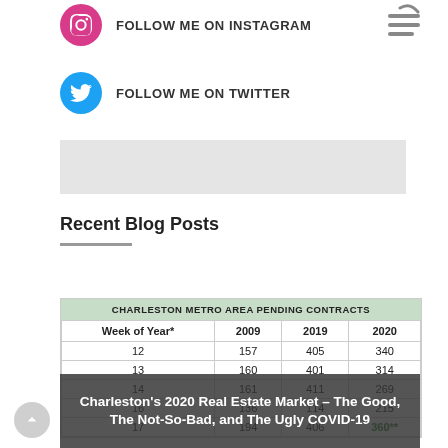FOLLOW ME ON INSTAGRAM
FOLLOW ME ON TWITTER
Recent Blog Posts
| Week of Year* | 2009 | 2019 | 2020 |
| --- | --- | --- | --- |
| 12 | 157 | 405 | 340 |
| 13 | 160 | 401 | 314 |
| 14 | 161 | 411 | 269 |
| 16 | 136 | 114 | 215 |
| 17 | 194 | 406 | 360** |
Charleston's 2020 Real Estate Market – The Good, The Not-So-Bad, and The Ugly COVID-19